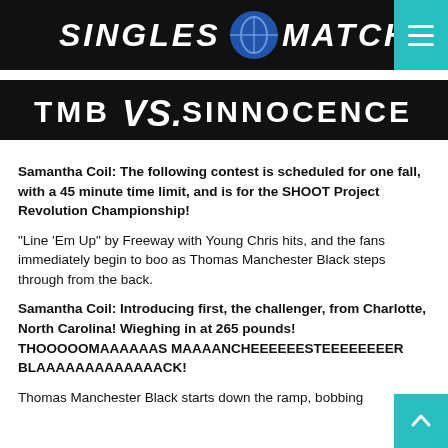[Figure (other): SINGLES MATCH banner header with logo circle and hamburger menu button on teal background]
[Figure (other): TMB VS. SINNOCENCE matchup banner on black background]
Samantha Coil: The following contest is scheduled for one fall, with a 45 minute time limit, and is for the SHOOT Project Revolution Championship!
“Line ‘Em Up” by Freeway with Young Chris hits, and the fans immediately begin to boo as Thomas Manchester Black steps through from the back.
Samantha Coil: Introducing first, the challenger, from Charlotte, North Carolina! Wieghing in at 265 pounds! THOOOOOMAAAAAAS MAAAANCHEEEEEESTEEEEEEEER BLAAAAAAAAAAAAACK!
Thomas Manchester Black starts down the ramp, bobbing